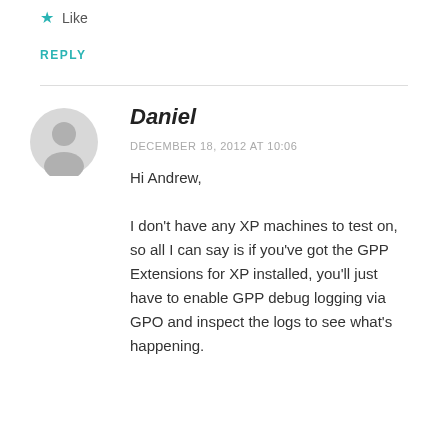Like
REPLY
Daniel
DECEMBER 18, 2012 AT 10:06
Hi Andrew,
I don't have any XP machines to test on, so all I can say is if you've got the GPP Extensions for XP installed, you'll just have to enable GPP debug logging via GPO and inspect the logs to see what's happening.